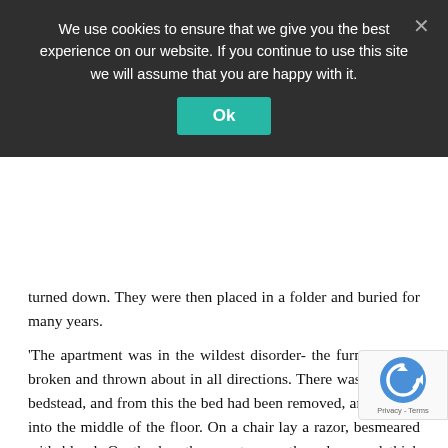We use cookies to ensure that we give you the best experience on our website. If you continue to use this site we will assume that you are happy with it.
Ok
turned down. They were then placed in a folder and buried for many years.
'The apartment was in the wildest disorder- the furniture was broken and thrown about in all directions. There was only one bedstead, and from this the bed had been removed, and thrown into the middle of the floor. On a chair lay a razor, besmeared with blood. On the hearth were two or three long and thick tresses of grey human hair, also pulled out by the roots. Upon the floor were found four Napoleons, an ear-ring of topaz, three large silver spoons, three smaller of metal d'Alger, and two bags, containing nearly four thousand francs in gold.'
Kenneth has left the window open, but in the te windows were clearly all locked and held down with